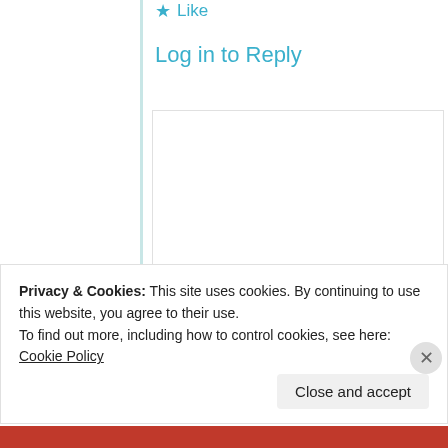★ Like
Log in to Reply
[Figure (photo): User avatar photo of Aqsa Khan — a circular profile photo showing a person in front of a blue sky background]
Aqsa Khan
2nd Jul 2021 at 12:13 pm
Can we tag here people on our posts… Lately I
Privacy & Cookies: This site uses cookies. By continuing to use this website, you agree to their use.
To find out more, including how to control cookies, see here: Cookie Policy
Close and accept